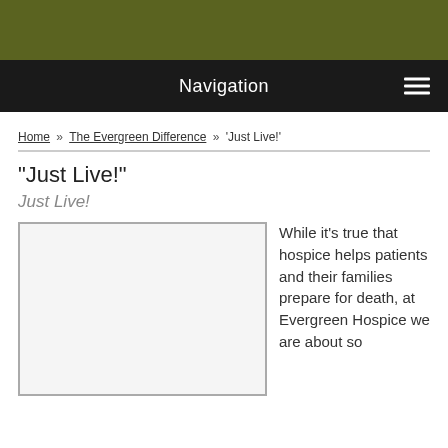Navigation
Home » The Evergreen Difference » 'Just Live!'
“Just Live!”
Just Live!
[Figure (photo): Image placeholder for Just Live content]
While it’s true that hospice helps patients and their families prepare for death, at Evergreen Hospice we are about so